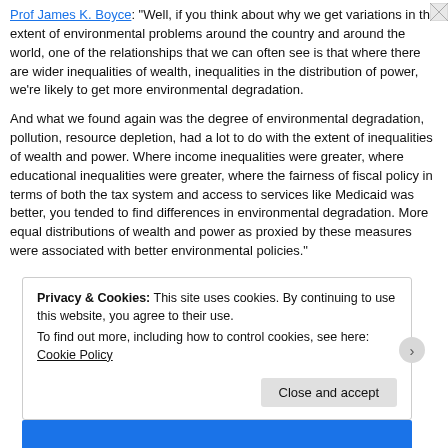Prof James K. Boyce: "Well, if you think about why we get variations in the extent of environmental problems around the country and around the world, one of the relationships that we can often see is that where there are wider inequalities of wealth, inequalities in the distribution of power, we're likely to get more environmental degradation.
And what we found again was the degree of environmental degradation, pollution, resource depletion, had a lot to do with the extent of inequalities of wealth and power. Where income inequalities were greater, where educational inequalities were greater, where the fairness of fiscal policy in terms of both the tax system and access to services like Medicaid was better, you tended to find differences in environmental degradation. More equal distributions of wealth and power as proxied by these measures were associated with better environmental policies."
Privacy & Cookies: This site uses cookies. By continuing to use this website, you agree to their use.
To find out more, including how to control cookies, see here: Cookie Policy
Close and accept